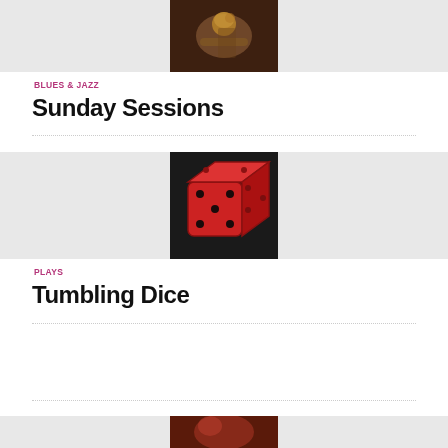[Figure (photo): Photograph of a jazz musician playing trumpet, warm toned, centered in a grey banner]
BLUES & JAZZ
Sunday Sessions
[Figure (illustration): Illustration of a red dice showing six dots on a dark background, centered in a grey banner]
PLAYS
Tumbling Dice
[Figure (photo): Partial photograph visible at bottom of page, red/warm tones, centered in a grey banner]